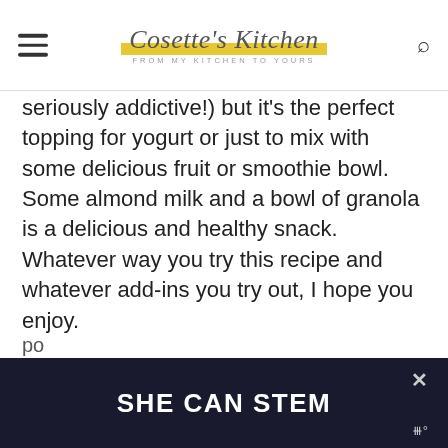Cosette's Kitchen — FROM MY KITCHEN TO YOURS
seriously addictive!) but it's the perfect topping for yogurt or just to mix with some delicious fruit or smoothie bowl. Some almond milk and a bowl of granola is a delicious and healthy snack. Whatever way you try this recipe and whatever add-ins you try out, I hope you enjoy.
As always, I love seeing your creations, tag me on Instagram @CosettesKitchen or po
[Figure (other): Dark advertisement banner at the bottom reading SHE CAN STEM with a close button (×) and a logo mark at the bottom right.]